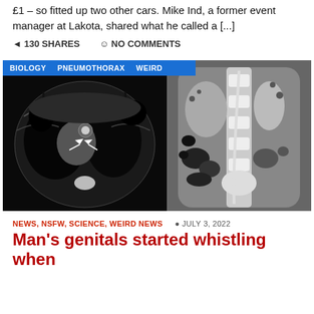£1 – so fitted up two other cars. Mike Ind, a former event manager at Lakota, shared what he called a [...]
130 SHARES   NO COMMENTS
[Figure (photo): Two side-by-side CT scan images of a human chest/abdomen. Left image shows an axial CT scan of the chest with arrows pointing to areas of interest (pneumothorax). Right image shows a coronal or sagittal CT scan of the abdomen showing internal organs. A blue tag bar at the top of the left image reads BIOLOGY, PNEUMOTHORAX, WEIRD.]
NEWS, NSFW, SCIENCE, WEIRD NEWS   JULY 3, 2022
Man's genitals started whistling when